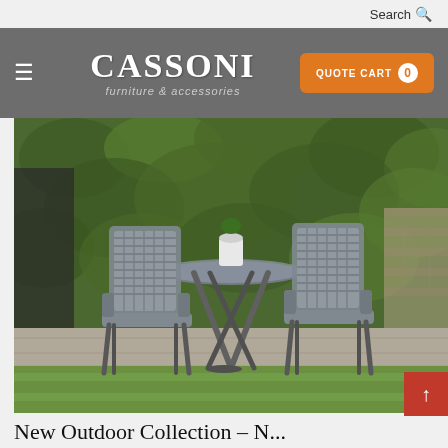Search
[Figure (logo): Cassoni furniture & accessories logo with hamburger menu and Quote Cart button (0 items)]
[Figure (photo): Outdoor patio setting with two grey woven rope-back chairs and a round glass-top table with a small white pot plant, set against a green ivy-covered wall with lawn in the foreground]
New Outdoor Collection – N...